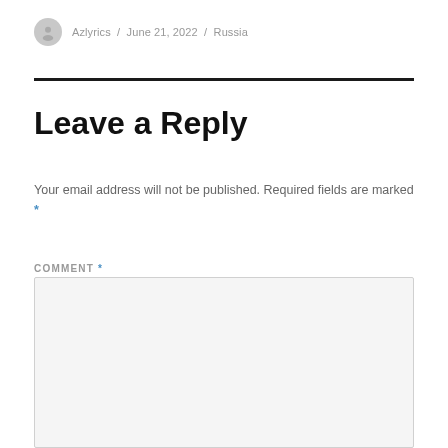Azlyrics / June 21, 2022 / Russia
Leave a Reply
Your email address will not be published. Required fields are marked *
COMMENT *